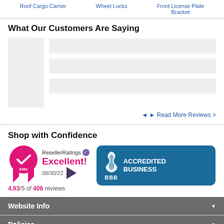Roof Cargo Carrier | Wheel Locks | Front License Plate Bracket
What Our Customers Are Saying
[Figure (other): Customer review widget with placeholder avatar and three gray content lines, with navigation arrows and Read More Reviews link]
Shop with Confidence
[Figure (other): ResellerRatings Elite badge with pink medal, Excellent! rating 4.93/5 of 406 reviews dated 08/30/22]
[Figure (other): BBB Accredited Business badge in blue]
Website Info
Policies